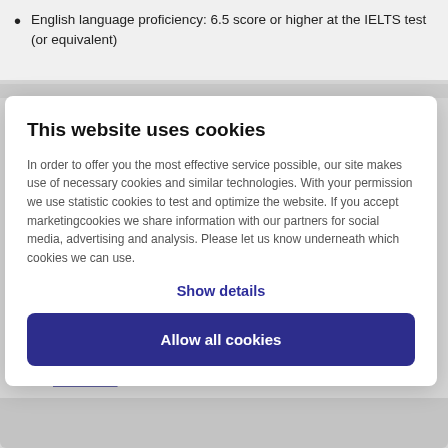English language proficiency: 6.5 score or higher at the IELTS test (or equivalent)
This website uses cookies
In order to offer you the most effective service possible, our site makes use of necessary cookies and similar technologies. With your permission we use statistic cookies to test and optimize the website. If you accept marketingcookies we share information with our partners for social media, advertising and analysis. Please let us know underneath which cookies we can use.
Show details
Allow all cookies
Read more